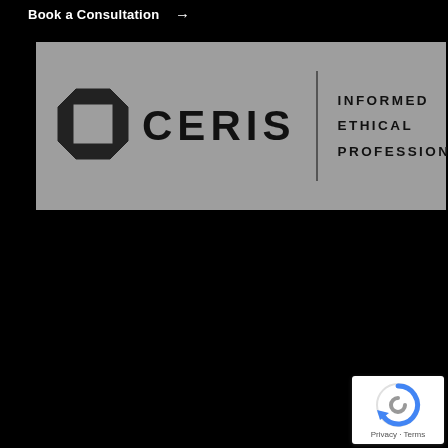Book a Consultation →
[Figure (logo): CERIS logo with octagon icon on grey background. Text reads: CERIS | INFORMED ETHICAL PROFESSIONAL]
[Figure (other): reCAPTCHA badge with Privacy and Terms links]